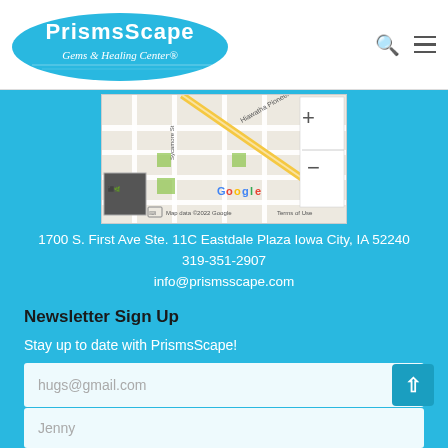PrismsScape Gems & Healing Center
[Figure (map): Google Map showing area around 1700 S. First Ave, Iowa City, IA. Streets visible include Hiawatha Pioneer Trl and Sycamore St. Map data ©2022 Google. Zoom in/out controls visible on right side.]
1700 S. First Ave Ste. 11C Eastdale Plaza Iowa City, IA 52240
319-351-2907
info@prismsscape.com
Newsletter Sign Up
Stay up to date with PrismsScape!
hugs@gmail.com
Jenny